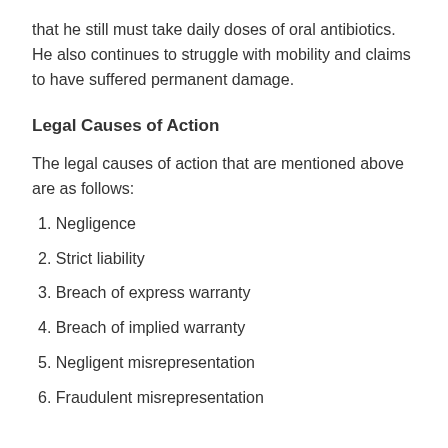that he still must take daily doses of oral antibiotics.  He also continues to struggle with mobility and claims to have suffered permanent damage.
Legal Causes of Action
The legal causes of action that are mentioned above are as follows:
1. Negligence
2. Strict liability
3. Breach of express warranty
4. Breach of implied warranty
5. Negligent misrepresentation
6. Fraudulent misrepresentation